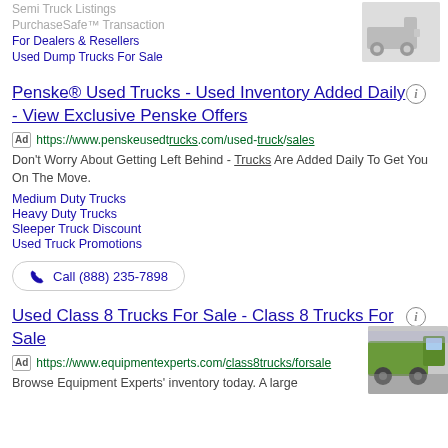Semi Truck Listings
PurchaseSafe™ Transaction
For Dealers & Resellers
Used Dump Trucks For Sale
[Figure (photo): Partial image of a semi truck (top right, greyscale)]
Penske® Used Trucks - Used Inventory Added Daily - View Exclusive Penske Offers
Ad https://www.penskeusedtrucks.com/used-truck/sales
Don't Worry About Getting Left Behind - Trucks Are Added Daily To Get You On The Move.
Medium Duty Trucks
Heavy Duty Trucks
Sleeper Truck Discount
Used Truck Promotions
Call (888) 235-7898
Used Class 8 Trucks For Sale - Class 8 Trucks For Sale
Ad https://www.equipmentexperts.com/class8trucks/forsale
Browse Equipment Experts' inventory today. A large
[Figure (photo): Green semi truck parked at a facility (bottom right)]